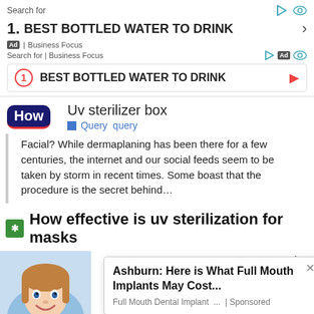Search for
1. BEST BOTTLED WATER TO DRINK
Ad | Business Focus
Search for | Business Focus
1  BEST BOTTLED WATER TO DRINK
[Figure (screenshot): How logo - blue rounded rectangle with red underline]
Uv sterilizer box
Query  query
Facial? While dermaplaning has been there for a few centuries, the internet and our social feeds seem to be taken by storm in recent times. Some boast that the procedure is the secret behind…
How effective is uv sterilization for masks
stroying e ruses, used to disinfect
[Figure (photo): Young woman smiling, dental/medical context]
Ashburn: Here is What Full Mouth Implants May Cost...
Full Mouth Dental Implant ...  | Sponsored
[Figure (screenshot): BitLife advertisement banner - WHEN REAL LIFE IS QUARANTINED - BitLife logo with rainbow background and emojis]
ntents